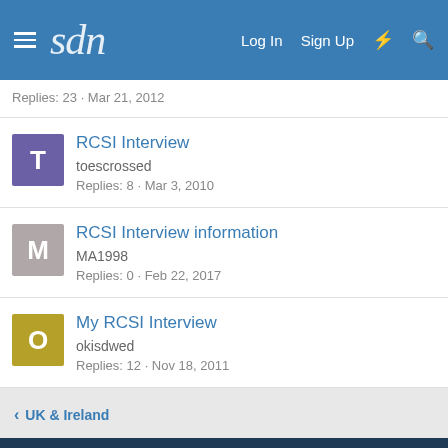sdn — Log In  Sign Up
Replies: 23 · Mar 21, 2012
RCSI Interview
toescrossed
Replies: 8 · Mar 3, 2010
RCSI Interview information
MA1998
Replies: 0 · Feb 22, 2017
My RCSI Interview
okisdwed
Replies: 12 · Nov 18, 2011
< UK & Ireland
Basic
Contact us  Terms and rules  Privacy policy  Help  Home